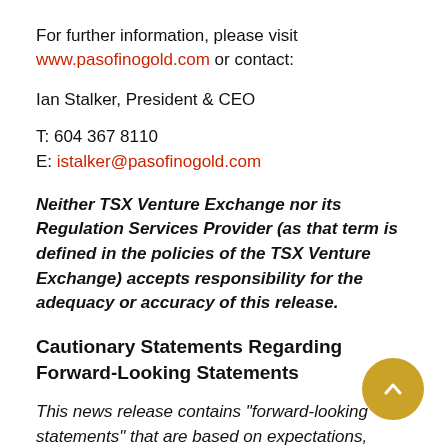For further information, please visit www.pasofinogold.com or contact:
Ian Stalker, President & CEO
T: 604 367 8110
E: istalker@pasofinogold.com
Neither TSX Venture Exchange nor its Regulation Services Provider (as that term is defined in the policies of the TSX Venture Exchange) accepts responsibility for the adequacy or accuracy of this release.
Cautionary Statements Regarding Forward-Looking Statements
This news release contains "forward-looking statements" that are based on expectations,